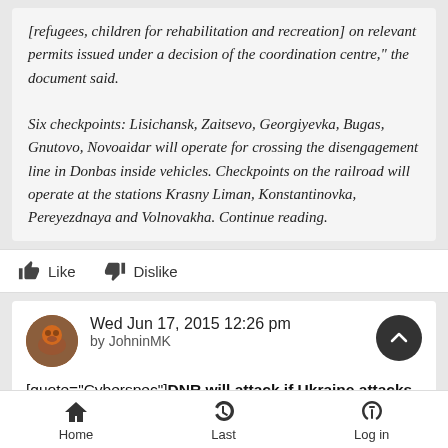[refugees, children for rehabilitation and recreation] on relevant permits issued under a decision of the coordination centre," the document said.

Six checkpoints: Lisichansk, Zaitsevo, Georgiyevka, Bugas, Gnutovo, Novoaidar will operate for crossing the disengagement line in Donbas inside vehicles. Checkpoints on the railroad will operate at the stations Krasny Liman, Konstantinovka, Pereyezdnaya and Volnovakha. Continue reading.
Like
Dislike
Wed Jun 17, 2015 12:26 pm
by JohninMK
[quote="Cyberspec"]DNR will attack if Ukraine attacks
Home   Last   Log in